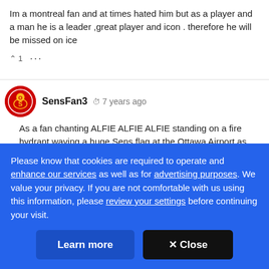Im a montreal fan and at times hated him but as a player and a man he is a leader ,great player and icon . therefore he will be missed on ice
^ 1 ...
SensFan3  7 years ago
As a fan chanting ALFIE ALFIE ALFIE standing on a fire hydrant waving a huge Sens flag at the Ottawa Airport as
Please know that cookies are required to operate and enhance our services as well as for advertising purposes. We value your privacy. If you are not comfortable with us using this information, please review your settings before continuing your visit.